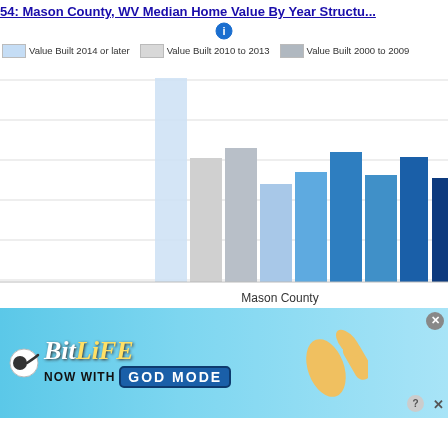54: Mason County, WV Median Home Value By Year Structu...
[Figure (grouped-bar-chart): Mason County, WV Median Home Value By Year Structure Built]
[Figure (screenshot): BitLife advertisement banner: 'BitLife NOW WITH GOD MODE' with sperm logo and pointing hand graphic, close button X and help ? button]